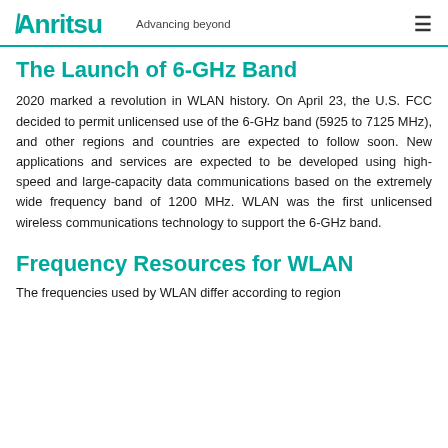Anritsu — Advancing beyond
The Launch of 6-GHz Band
2020 marked a revolution in WLAN history. On April 23, the U.S. FCC decided to permit unlicensed use of the 6-GHz band (5925 to 7125 MHz), and other regions and countries are expected to follow soon. New applications and services are expected to be developed using high-speed and large-capacity data communications based on the extremely wide frequency band of 1200 MHz. WLAN was the first unlicensed wireless communications technology to support the 6-GHz band.
Frequency Resources for WLAN
The frequencies used by WLAN differ according to region